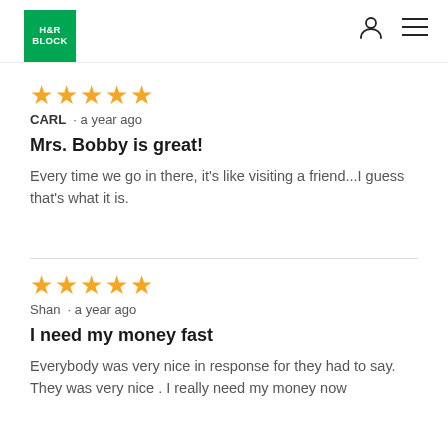H&R Block
★★★★★
CARL · a year ago
Mrs. Bobby is great!
Every time we go in there, it's like visiting a friend...I guess that's what it is.
★★★★★
Shan · a year ago
I need my money fast
Everybody was very nice in response for they had to say. They was very nice . I really need my money now